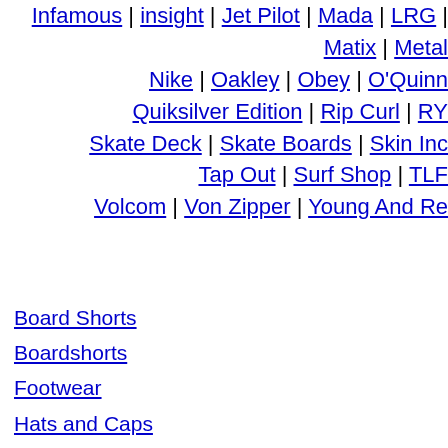Infamous | insight | Jet Pilot | Mada | LRG | Matix | Metal | Nike | Oakley | Obey | O'Quinn | Quiksilver Edition | Rip Curl | RY | Skate Deck | Skate Boards | Skin Inc | Tap Out | Surf Shop | TLF | Volcom | Von Zipper | Young And Re
Board Shorts
Boardshorts
Footwear
Hats and Caps
jackets
pants
shirts
Shoes
shorts